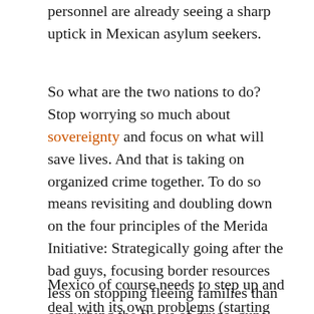personnel are already seeing a sharp uptick in Mexican asylum seekers.
So what are the two nations to do? Stop worrying so much about sovereignty and focus on what will save lives. And that is taking on organized crime together. To do so means revisiting and doubling down on the four principles of the Merida Initiative: Strategically going after the bad guys, focusing border resources less on stopping fleeing families than on curbing the flows of drugs, guns, and illicit money, and especially strengthening the rule of law and helping stricken communities.
Mexico of course needs to step up and deal with its own problems (starting with a huge bump in